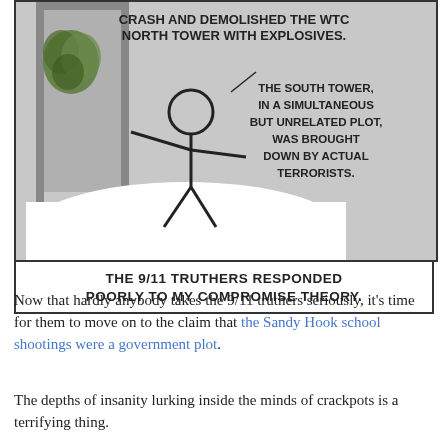[Figure (illustration): XKCD-style stick figure comic panel. A stick figure stands gesturing toward text. The comic panel text reads: 'CRASH AND DEMOLISHED THE WTC NORTH TOWER WITH EXPLOSIVES. THE SOUTH TOWER, IN A SIMULTANEOUS BUT UNRELATED PLOT, WAS BROUGHT DOWN BY ACTUAL TERRORISTS.' Below the panel caption reads: 'THE 9/11 TRUTHERS RESPONDED POORLY TO MY COMPROMISE THEORY.']
Now that hardly anybody takes the 9/11 truthers seriously, it's time for them to move on to the claim that the Sandy Hook school shootings were a government plot.
The depths of insanity lurking inside the minds of crackpots is a terrifying thing.